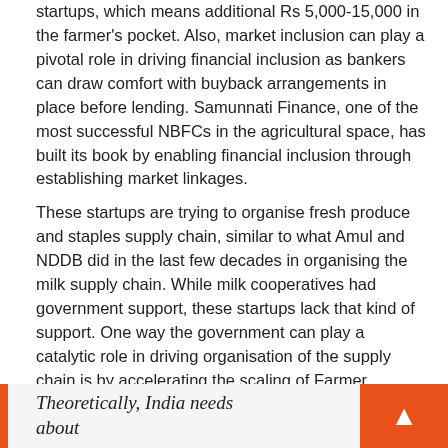startups, which means additional Rs 5,000-15,000 in the farmer's pocket. Also, market inclusion can play a pivotal role in driving financial inclusion as bankers can draw comfort with buyback arrangements in place before lending. Samunnati Finance, one of the most successful NBFCs in the agricultural space, has built its book by enabling financial inclusion through establishing market linkages.
These startups are trying to organise fresh produce and staples supply chain, similar to what Amul and NDDB did in the last few decades in organising the milk supply chain. While milk cooperatives had government support, these startups lack that kind of support. One way the government can play a catalytic role in driving organisation of the supply chain is by accelerating the scaling of Farmer Produce Organisations (FPOs).
Theoretically, India needs about